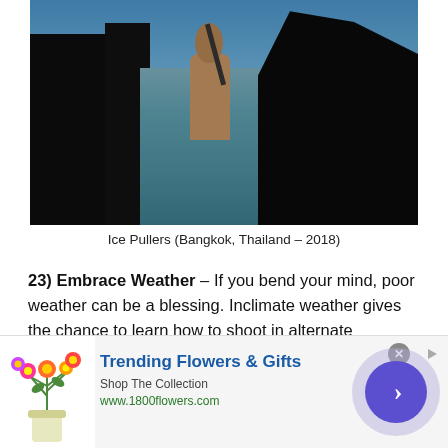[Figure (photo): Two workers handling large blocks of ice. One shirtless man uses a tool on top of an ice block, while another person (silhouetted) pushes from the side. Industrial setting with blue sky background.]
Ice Pullers (Bangkok, Thailand – 2018)
23) Embrace Weather – If you bend your mind, poor weather can be a blessing. Inclimate weather gives the chance to learn how to shoot in alternate conditions and will inevitably lead to new ways of utilizing your camera. With precipitation, humans act differently. Spaces clear out. Reflections are readily available. By embracing rain and snow,
[Figure (other): Advertisement banner for 1800flowers.com. Shows colorful flower bouquet on left, text 'Trending Flowers & Gifts' with 'Shop The Collection' and 'www.1800flowers.com', and a purple circle with right arrow on right. Close button (x) in upper right.]